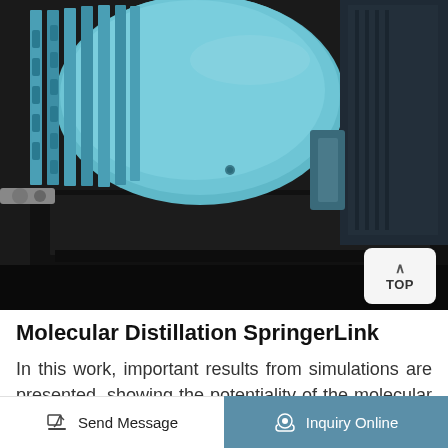[Figure (photo): Close-up photograph of a blue electric motor/pump mounted on a black metal base plate, industrial machinery for molecular distillation]
Molecular Distillation SpringerLink
In this work, important results from simulations are presented, showing the potentiality of the molecular distillation process for recovering vitamin E from vegetal oils. Two types of molecular distillators are considered: falling film and centrifugal. The results emphasize the degree of
Send Message | Inquiry Online